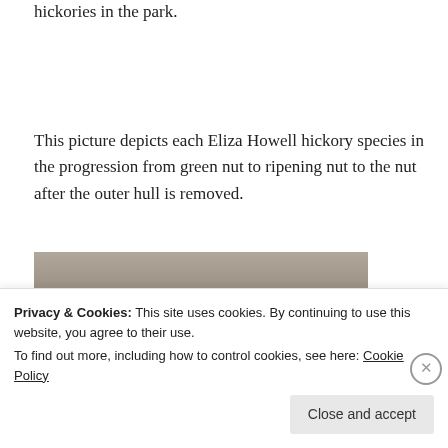hickories in the park.
This picture depicts each Eliza Howell hickory species in the progression from green nut to ripening nut to the nut after the outer hull is removed.
[Figure (photo): Three hickory nuts on sandy ground: a green unripe nut on the left, a dark ripe nut in the middle, and a light-colored nut with hull removed on the right.]
Privacy & Cookies: This site uses cookies. By continuing to use this website, you agree to their use. To find out more, including how to control cookies, see here: Cookie Policy
Close and accept